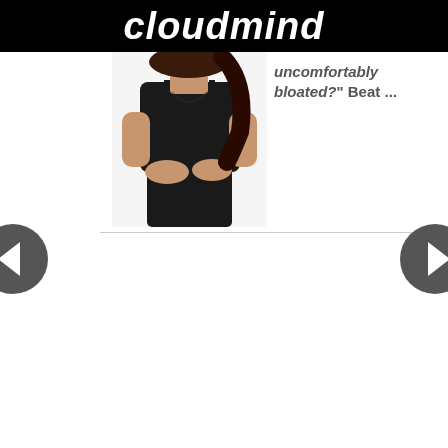cloudmind
[Figure (photo): Woman in black tank top holding her abdomen, cropped torso shot against white background]
uncomfortably bloated?" Beat ...
[Figure (other): Left navigation arrow button, dark grey circle with white left-pointing triangle]
[Figure (other): Right navigation arrow button, dark grey circle with white right-pointing triangle]